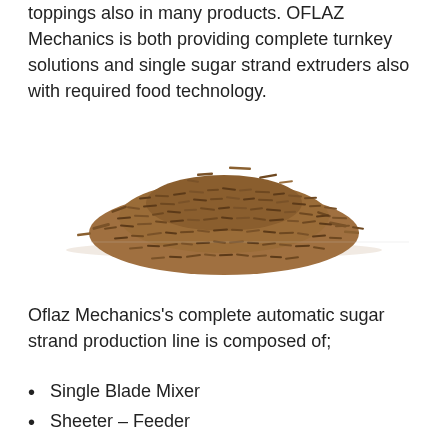toppings also in many products. OFLAZ Mechanics is both providing complete turnkey solutions and single sugar strand extruders also with required food technology.
[Figure (photo): A pile of chocolate sugar strands (sprinkles/vermicelli) photographed on a white background, showing small thin rod-shaped brown candy pieces arranged in a mound shape.]
Oflaz Mechanics's complete automatic sugar strand production line is composed of;
Single Blade Mixer
Sheeter – Feeder